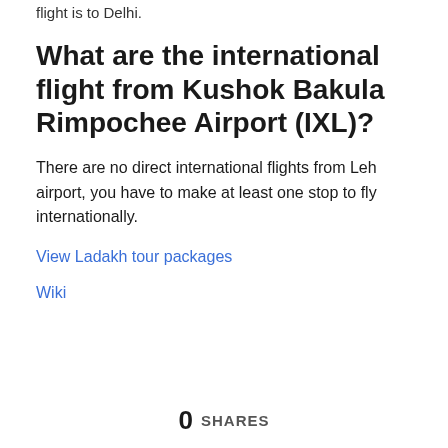flight is to Delhi.
What are the international flight from Kushok Bakula Rimpochee Airport (IXL)?
There are no direct international flights from Leh airport, you have to make at least one stop to fly internationally.
View Ladakh tour packages
Wiki
0 SHARES